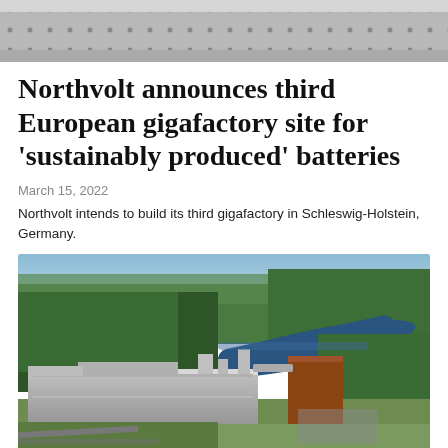[Figure (photo): Partial aerial or industrial photo shown at the top of the page, cropped, showing a grey textured surface with dot patterns]
Northvolt announces third European gigafactory site for 'sustainably produced' batteries
March 15, 2022
Northvolt intends to build its third gigafactory in Schleswig-Holstein, Germany.
[Figure (photo): Aerial photograph of an industrial facility surrounded by dense forest with a river running alongside it. Large factory buildings with grey roofs visible in the foreground, with forested landscape extending to the horizon.]